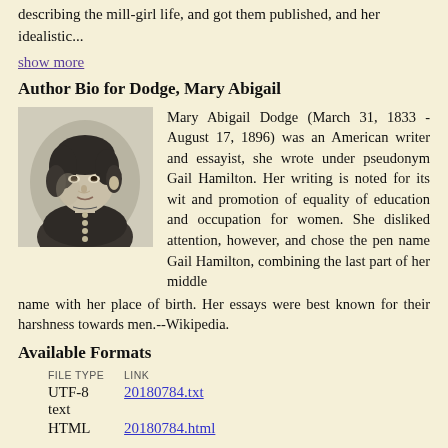describing the mill-girl life, and got them published, and her idealistic...
show more
Author Bio for Dodge, Mary Abigail
[Figure (photo): Black and white portrait illustration of Mary Abigail Dodge, showing a woman with dark curly hair, wearing a dark dress with buttons at the neckline, shown in three-quarter profile.]
Mary Abigail Dodge (March 31, 1833 - August 17, 1896) was an American writer and essayist, she wrote under pseudonym Gail Hamilton. Her writing is noted for its wit and promotion of equality of education and occupation for women. She disliked attention, however, and chose the pen name Gail Hamilton, combining the last part of her middle name with her place of birth. Her essays were best known for their harshness towards men.--Wikipedia.
Available Formats
| FILE TYPE | LINK |
| --- | --- |
| UTF-8 text | 20180784.txt |
| HTML | 20180784.html |